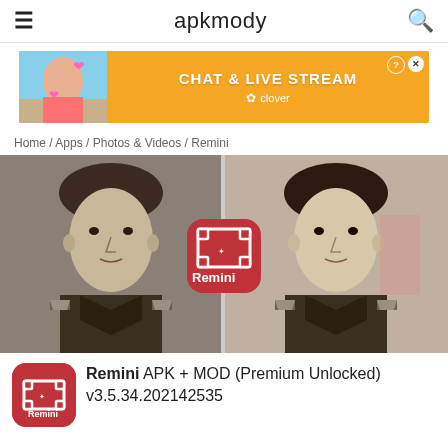apkmody
[Figure (photo): Advertisement banner for Clover - Chat & Live Stream app, showing a woman in a bikini on a beach with a yellow/orange background and text 'CHAT & LIVE STREAM' and 'clover' branding]
Home / Apps / Photos & Videos / Remini
[Figure (photo): Split image showing before and after photo enhancement of a young man in military uniform, black and white old photo. The Remini app logo is overlaid in the center between the two photos.]
Remini APK + MOD (Premium Unlocked) v3.5.34.202142535